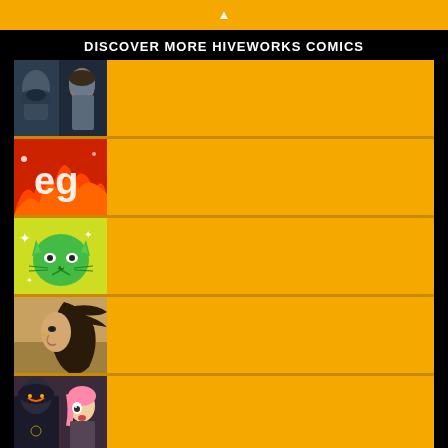DISCOVER MORE HIVEWORKS COMICS
[Figure (illustration): A scrollable list of Hiveworks comics with thumbnail images on the left and orange content areas on the right. Five comic rows visible with up/down navigation arrows.]
First  Back  Details  Next  Last
525